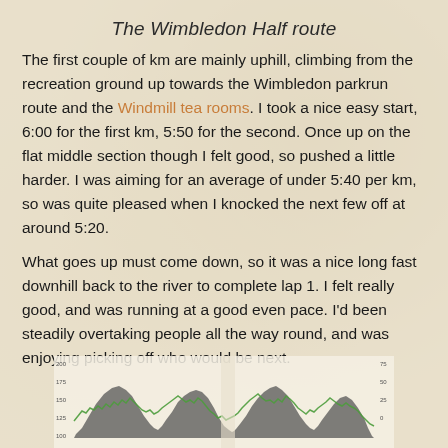The Wimbledon Half route
The first couple of km are mainly uphill, climbing from the recreation ground up towards the Wimbledon parkrun route and the Windmill tea rooms. I took a nice easy start, 6:00 for the first km, 5:50 for the second. Once up on the flat middle section though I felt good, so pushed a little harder. I was aiming for an average of under 5:40 per km, so was quite pleased when I knocked the next few off at around 5:20.
What goes up must come down, so it was a nice long fast downhill back to the river to complete lap 1. I felt really good, and was running at a good even pace. I'd been steadily overtaking people all the way round, and was enjoying picking off who would be next.
[Figure (continuous-plot): Elevation and heart rate chart showing two laps of the Wimbledon Half route. Dark grey area shows elevation profile with two humps. Green line shows heart rate data. Y-axis labels on left and right.]